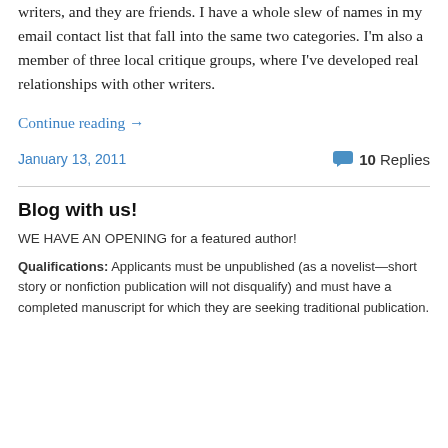writers, and they are friends. I have a whole slew of names in my email contact list that fall into the same two categories. I'm also a member of three local critique groups, where I've developed real relationships with other writers.
Continue reading →
January 13, 2011
10 Replies
Blog with us!
WE HAVE AN OPENING for a featured author!
Qualifications: Applicants must be unpublished (as a novelist—short story or nonfiction publication will not disqualify) and must have a completed manuscript for which they are seeking traditional publication.